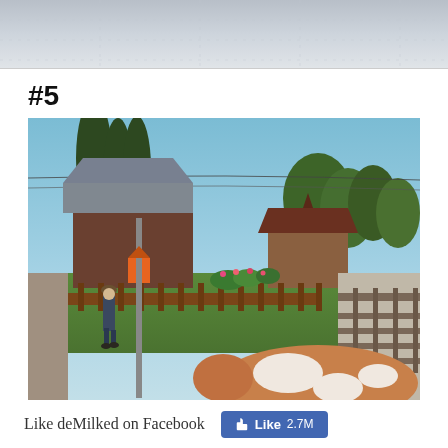[Figure (photo): Partial top strip of a previous photo, light gray/blue tones, cropped at the top of the page]
#5
[Figure (photo): Street-view style photo of a rural village scene: tall trees, wooden buildings with metal roofs, a brown picket fence with flowering plants, a person walking on a gravel path, and a brown-and-white cow in the foreground]
Like deMilked on Facebook
[Figure (other): Facebook Like button showing 2.7M likes]